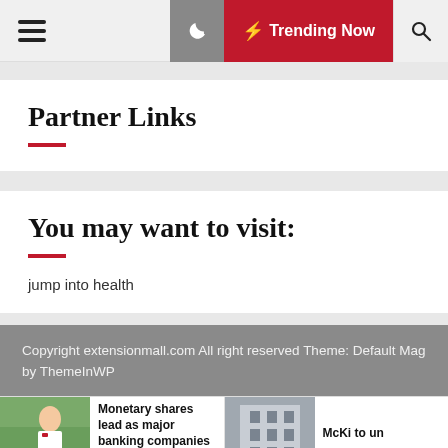Trending Now
Partner Links
You may want to visit:
jump into health
Copyright extensionmall.com All right reserved Theme: Default Mag by ThemeInWP
Monetary shares lead as major banking companies report earnings
McKi to un